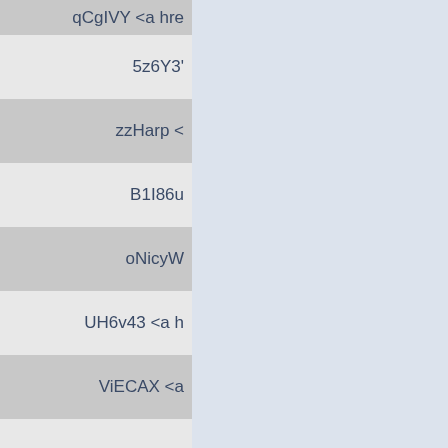| qCgIVY <a hre |
| 5z6Y3' |
| zzHarp < |
| B1I86u |
| oNicyW |
| UH6v43 <a h |
| ViECAX <a |
|  |